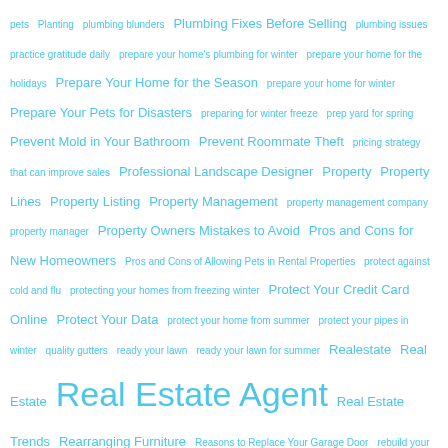pets  Planting  plumbing blunders  Plumbing Fixes Before Selling  plumbing issues  practice gratitude daily  prepare your home's plumbing for winter  prepare your home for the holidays  Prepare Your Home for the Season  prepare your home for winter  Prepare Your Pets for Disasters  preparing for winter freeze  prep yard for spring  Prevent Mold in Your Bathroom  Prevent Roommate Theft  pricing strategy that can improve sales  Professional Landscape Designer  Property  Property Lines  Property Listing  Property Management  property management company  property manager  Property Owners Mistakes to Avoid  Pros and Cons for New Homeowners  Pros and Cons of Allowing Pets in Rental Properties  protect against cold and flu  protecting your homes from freezing winter  Protect Your Credit Card Online  Protect Your Data  protect your home from summer  protect your pipes in winter  quality gutters  ready your lawn  ready your lawn for summer  Realestate  Real Estate  Real Estate Agent  Real Estate Trends  Rearranging Furniture  Reasons to Replace Your Garage Door  rebuild your credit score  reclaim your junk drawer  Recover After a Fire Emergrncy  Reduce